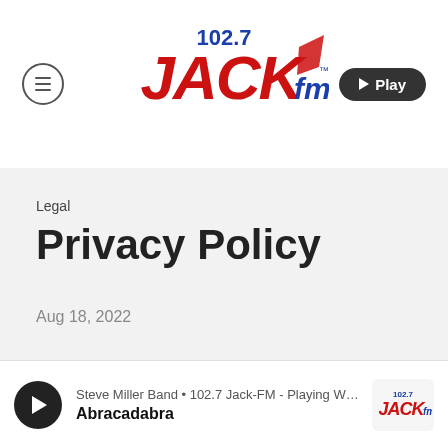[Figure (logo): 102.7 Jack FM logo with red and blue lettering, Jack text in large red stylized font with FM in blue, 102.7 in blue above]
Legal
Privacy Policy
Aug 18, 2022
Steve Miller Band • 102.7 Jack-FM - Playing What We … | Abracadabra